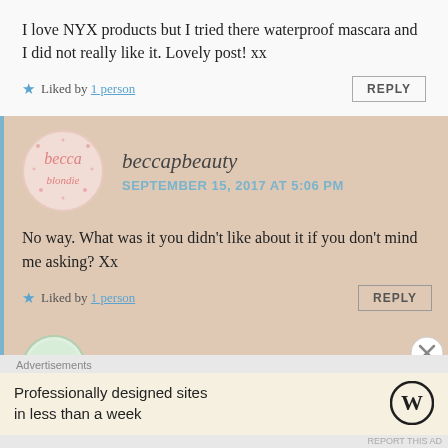I love NYX products but I tried there waterproof mascara and I did not really like it. Lovely post! xx
★ Liked by 1 person
beccapbeauty
SEPTEMBER 15, 2017 AT 5:06 PM
No way. What was it you didn't like about it if you don't mind me asking? Xx
★ Liked by 1 person
rockthebeauty
Advertisements
Professionally designed sites in less than a week